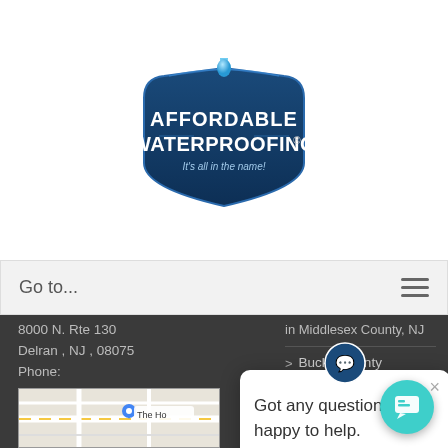[Figure (logo): Affordable Waterproofing logo — blue shield shape with water drop and text 'AFFORDABLE WATERPROOFING, It's all in the name!']
Go to...
8000 N. Rte 130
Delran , NJ , 08075
Phone:
(856) 492-5625
Toll-free:
(856) 492-5625
in Middlesex County, NJ
> Bucks County Basement Waterproofing
Got any questions? I'm happy to help.
LOCATION
> Basement Waterproofing Camden County NJ
[Figure (map): Google Maps thumbnail showing road map with 'The Ho...' label and a pin icon]